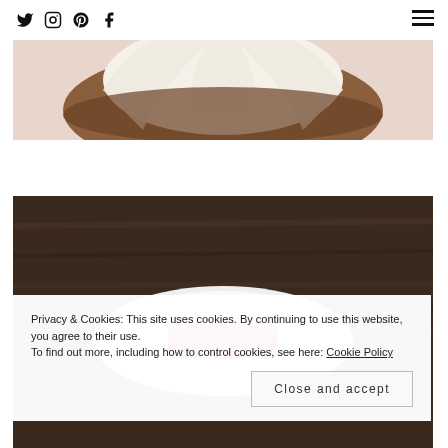Social media icons: Twitter, Instagram, Pinterest, Facebook; Hamburger menu
[Figure (photo): Close-up photo of a halved coconut showing white coconut flesh on a pinkish background]
[Figure (photo): Photo of a white plate with red food (appears to be a red-colored dish) on a dark wooden table background]
Privacy & Cookies: This site uses cookies. By continuing to use this website, you agree to their use.
To find out more, including how to control cookies, see here: Cookie Policy
Close and accept